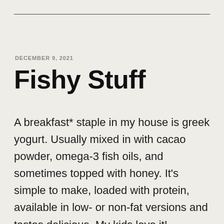DECEMBER 9, 2021
Fishy Stuff
A breakfast* staple in my house is greek yogurt. Usually mixed in with cacao powder, omega-3 fish oils, and sometimes topped with honey. It's simple to make, loaded with protein, available in low- or non-fat versions and tastes delicious. My kids love it! Compared to a grain-based breakfast cereal this is a huge